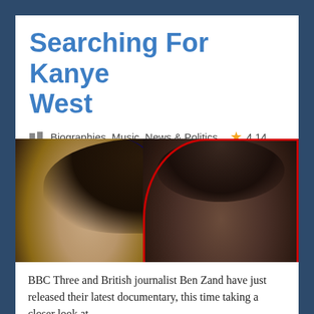Searching For Kanye West
Biographies, Music, News & Politics  ★ 4.14
[Figure (photo): Documentary cover image showing two men's faces: a young man with dark hair on the left with a blue outline, and Kanye West on the right with a red outline against a dark diagonal-lined background. The text 'SEARCHING FO' is visible on a dark banner at the bottom right.]
BBC Three and British journalist Ben Zand have just released their latest documentary, this time taking a closer look at